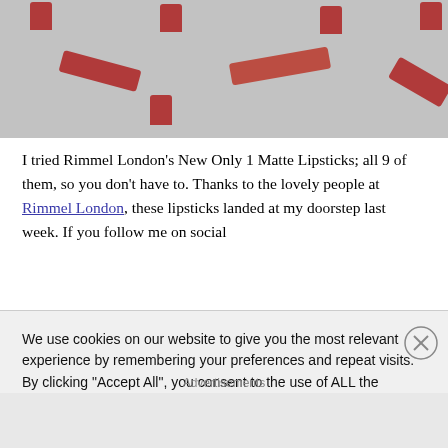[Figure (photo): Overhead photo of multiple red Rimmel London lipstick tubes and caps scattered on a grey surface]
I tried Rimmel London’s New Only 1 Matte Lipsticks; all 9 of them, so you don’t have to. Thanks to the lovely people at Rimmel London, these lipsticks landed at my doorstep last week. If you follow me on social
We use cookies on our website to give you the most relevant experience by remembering your preferences and repeat visits. By clicking “Accept All”, you consent to the use of ALL the cookies. However, you may visit "Cookie Settings" to provide a controlled consent.
Advertisements